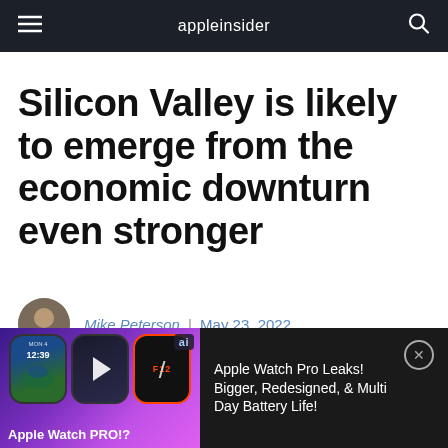appleinsider
Silicon Valley is likely to emerge from the economic downturn even stronger
Mike Peterson | May 23, 2022
[Figure (screenshot): Advertisement banner showing Apple Watch PRO promo video with three watch faces on purple gradient background on the left, and text 'Apple Watch Pro Leaks! Bigger, Redesigned, & Multi Day Battery Life!' on dark background on the right with a close button]